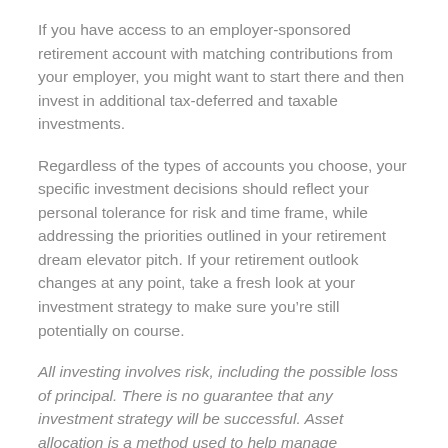If you have access to an employer-sponsored retirement account with matching contributions from your employer, you might want to start there and then invest in additional tax-deferred and taxable investments.
Regardless of the types of accounts you choose, your specific investment decisions should reflect your personal tolerance for risk and time frame, while addressing the priorities outlined in your retirement dream elevator pitch. If your retirement outlook changes at any point, take a fresh look at your investment strategy to make sure you’re still potentially on course.
All investing involves risk, including the possible loss of principal. There is no guarantee that any investment strategy will be successful. Asset allocation is a method used to help manage investment risk; it does not guarantee a profit or protect against investment loss. There is no